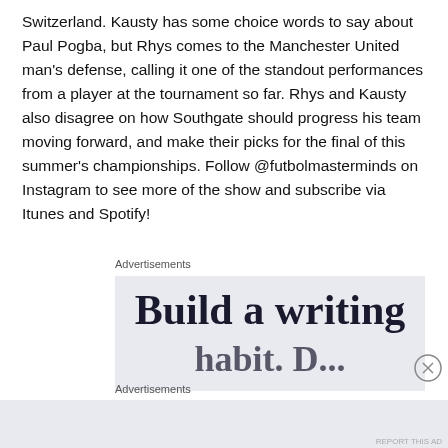Switzerland. Kausty has some choice words to say about Paul Pogba, but Rhys comes to the Manchester United man's defense, calling it one of the standout performances from a player at the tournament so far. Rhys and Kausty also disagree on how Southgate should progress his team moving forward, and make their picks for the final of this summer's championships. Follow @futbolmasterminds on Instagram to see more of the show and subscribe via Itunes and Spotify!
Advertisements
[Figure (other): Advertisement banner showing partial text 'Build a writing' in large serif font on a light blue-grey background]
Advertisements